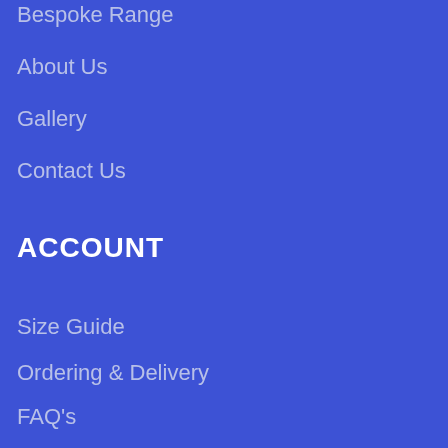Bespoke Range
About Us
Gallery
Contact Us
ACCOUNT
Size Guide
Ordering & Delivery
FAQ's
Terms & Conditions
Klarna Privacy Policy